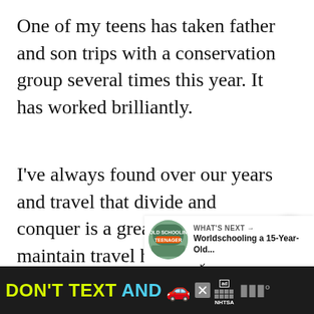One of my teens has taken father and son trips with a conservation group several times this year. It has worked brilliantly.
I've always found over our years and travel that divide and conquer is a great way to maintain travel harmony. The older they get the better it works.
[Figure (screenshot): Social media interaction buttons: a heart/like button with count 386, and a share button]
[Figure (screenshot): What's Next panel showing a thumbnail circle with 'OLD SCHOOLIN TEENAGER' badge and text 'WHAT'S NEXT → Worldschooling a 15-Year-Old...']
[Figure (screenshot): Ad banner with dark background. Yellow text 'DON'T TEXT' and cyan text 'AND', red car emoji, ad badge, NHTSA logo boxes, and right logo marks]